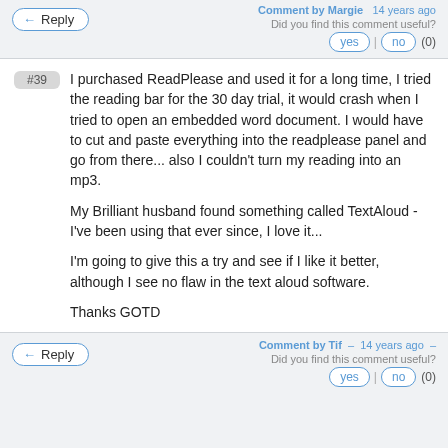Comment by Margie  –  14 years ago
Did you find this comment useful?
yes | no (0)
Reply
#39
I purchased ReadPlease and used it for a long time, I tried the reading bar for the 30 day trial, it would crash when I tried to open an embedded word document. I would have to cut and paste everything into the readplease panel and go from there... also I couldn't turn my reading into an mp3.

My Brilliant husband found something called TextAloud - I've been using that ever since, I love it...

I'm going to give this a try and see if I like it better, although I see no flaw in the text aloud software.

Thanks GOTD
Comment by Tif  –  14 years ago  –
Did you find this comment useful?
yes | no (0)
Reply